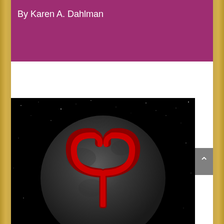By Karen A. Dahlman
[Figure (illustration): Dark planet/moon with starry black space background and a red Aries zodiac symbol (ram horns) centered on the dark sphere.]